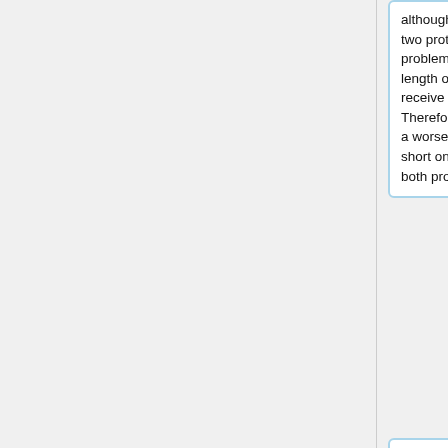although the overall topology of the two proteins is quite similar. Another problem with the RMSD is, that the length of the two proteins does not receive attention by the calculation. Therefore, long proteins have almost a worse RMSD value in contrast to short ones, even if the topology of both protein pairs is equal. <br>
We used the RMSD calculation by PyMol and also by TM-align. The aligned structures where